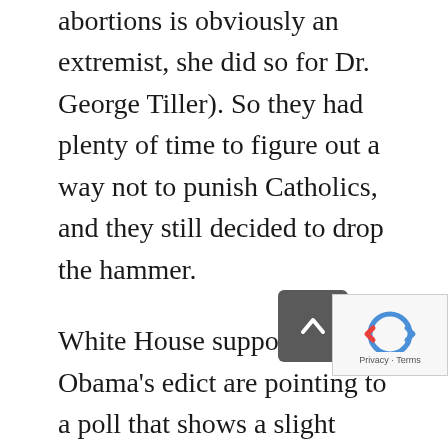abortions is obviously an extremist, she did so for Dr. George Tiller). So they had plenty of time to figure out a way not to punish Catholics, and they still decided to drop the hammer.
White House supporters of Obama's edict are pointing to a poll that shows a slight majority of Catholics supporting Obama's plan. But the poll is flawed. As always, the question affects the outcome. The poll never mentioned that the federal government would place sanctions on Catholic institutions if they did not comply, and th